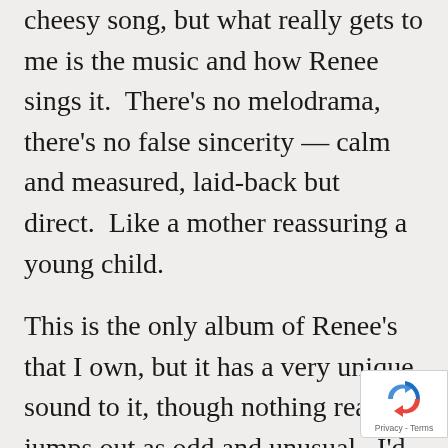cheesy song, but what really gets to me is the music and how Renee sings it.  There's no melodrama, there's no false sincerity — calm and measured, laid-back but direct.  Like a mother reassuring a young child.
This is the only album of Renee's that I own, but it has a very unique sound to it, though nothing really jumps out as odd and unusual.  I'd call it “folk-tronic” because it has lots of gentle acoustic guitars, but with
[Figure (other): Google reCAPTCHA badge with recycling-arrow logo icon and 'Privacy - Terms' text link]